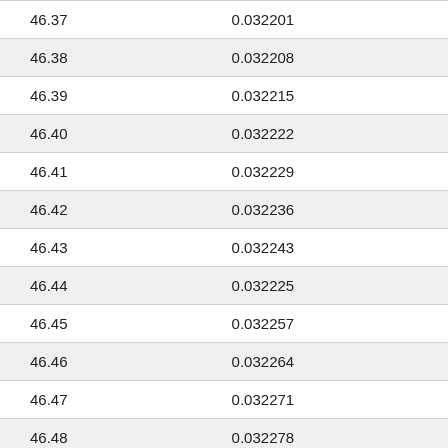| 46.37 | 0.032201 |
| 46.38 | 0.032208 |
| 46.39 | 0.032215 |
| 46.40 | 0.032222 |
| 46.41 | 0.032229 |
| 46.42 | 0.032236 |
| 46.43 | 0.032243 |
| 46.44 | 0.032225 |
| 46.45 | 0.032257 |
| 46.46 | 0.032264 |
| 46.47 | 0.032271 |
| 46.48 | 0.032278 |
| 46.49 | 0.032285 |